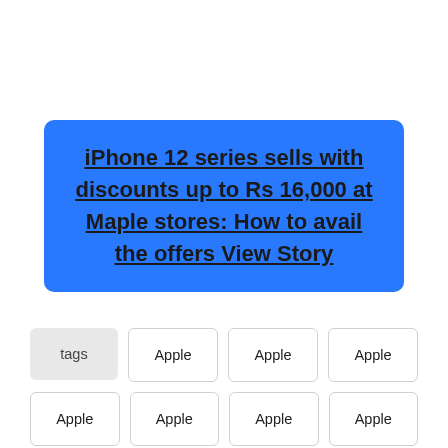iPhone 12 series sells with discounts up to Rs 16,000 at Maple stores: How to avail the offers View Story
tags
Apple
Apple
Apple
Apple
Apple
Apple
Apple
Apple IPhone 12
Apple Iphone 12
Apple IPhone 12
Best-Deals
Deals